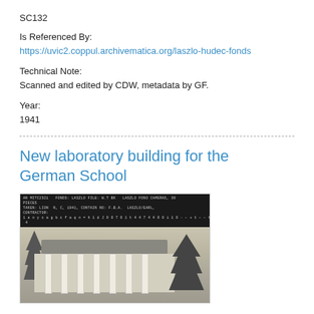SC132
Is Referenced By:
https://uvic2.coppul.archivematica.org/laszlo-hudec-fonds
Technical Note:
Scanned and edited by CDW, metadata by GF.
Year:
1941
New laboratory building for the German School
[Figure (photo): Black and white photograph of a building with columns, bare trees, with a dark information header bar at the top of the image]